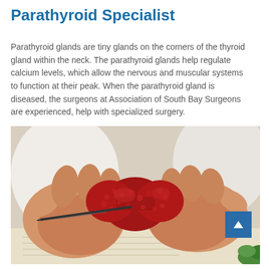Parathyroid Specialist
Parathyroid glands are tiny glands on the corners of the thyroid gland within the neck. The parathyroid glands help regulate calcium levels, which allow the nervous and muscular systems to function at their peak. When the parathyroid gland is diseased, the surgeons at Association of South Bay Surgeons are experienced, help with specialized surgery.
[Figure (photo): A person in a white coat holding a red anatomical model of a thyroid/parathyroid gland with a small pointer or pen, with medical paperwork visible in the background.]